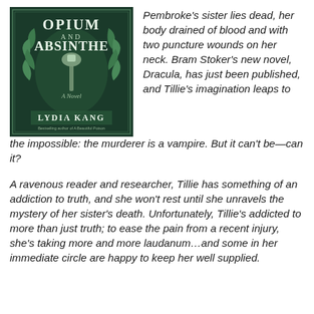[Figure (illustration): Book cover of 'Opium and Absinthe: A Novel' by Lydia Kang, featuring a dark green background with botanical illustrations and a spoon, with decorative Art Nouveau style typography.]
Pembroke's sister lies dead, her body drained of blood and with two puncture wounds on her neck. Bram Stoker's new novel, Dracula, has just been published, and Tillie's imagination leaps to the impossible: the murderer is a vampire. But it can't be—can it?
A ravenous reader and researcher, Tillie has something of an addiction to truth, and she won't rest until she unravels the mystery of her sister's death. Unfortunately, Tillie's addicted to more than just truth; to ease the pain from a recent injury, she's taking more and more laudanum…and some in her immediate circle are happy to keep her well supplied.